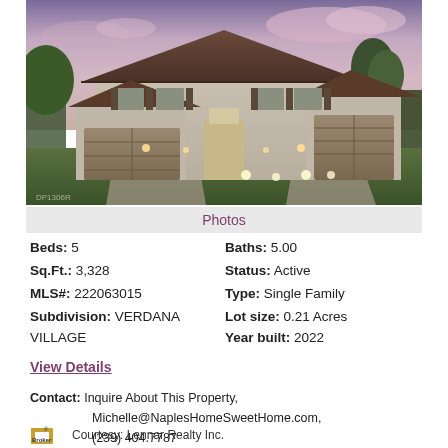[Figure (photo): Exterior rendering of a two-story single family home with dark roof, three-car garage, and landscaping at dusk with purple-pink sky]
Photos
Beds: 5   Baths: 5.00
Sq.Ft.: 3,328   Status: Active
MLS#: 222063015   Type: Single Family
Subdivision: VERDANA VILLAGE   Lot size: 0.21 Acres
Year built: 2022
View Details
Contact: Inquire About This Property, Michelle@NaplesHomeSweetHome.com, (239) 404.7787
Broker   Courtesy: Lennar Realty Inc.